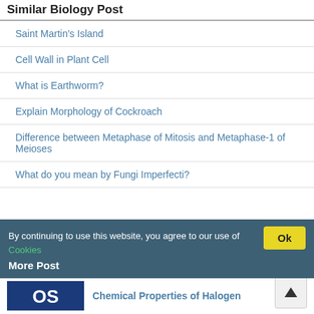Similar Biology Post
Saint Martin's Island
Cell Wall in Plant Cell
What is Earthworm?
Explain Morphology of Cockroach
Difference between Metaphase of Mitosis and Metaphase-1 of Meioses
What do you mean by Fungi Imperfecti?
By continuing to use this website, you agree to our use of Cookies
More Post
[Figure (logo): Blue logo with 'OS' letters]
Chemical Properties of Halogen